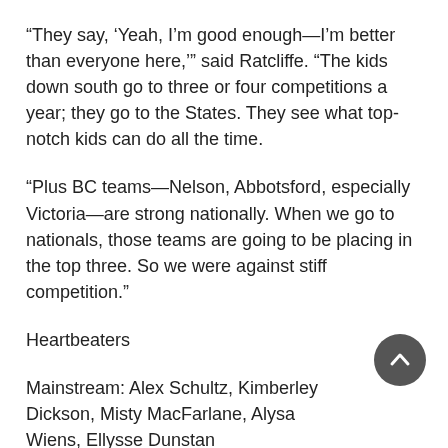“They say, ‘Yeah, I’m good enough—I’m better than everyone here,’” said Ratcliffe. “The kids down south go to three or four competitions a year; they go to the States. They see what top-notch kids can do all the time.
“Plus BC teams—Nelson, Abbotsford, especially Victoria—are strong nationally. When we go to nationals, those teams are going to be placing in the top three. So we were against stiff competition.”
Heartbeaters
Mainstream: Alex Schultz, Kimberley Dickson, Misty MacFarlane, Alysa Wiens, Ellysse Dunstan
Rookie: Emma Hoogland, Emily Bishop, Nila Stinson,